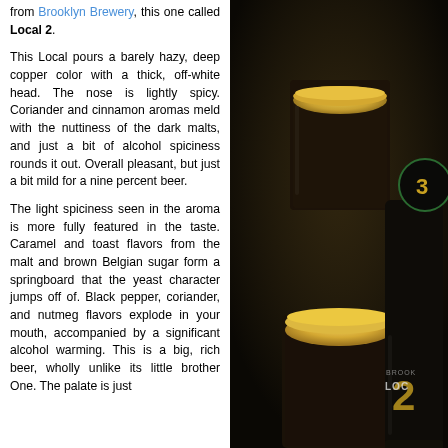from Brooklyn Brewery, this one called Local 2.
This Local pours a barely hazy, deep copper color with a thick, off-white head. The nose is lightly spicy. Coriander and cinnamon aromas meld with the nuttiness of the dark malts, and just a bit of alcohol spiciness rounds it out. Overall pleasant, but just a bit mild for a nine percent beer.
The light spiciness seen in the aroma is more fully featured in the taste. Caramel and toast flavors from the malt and brown Belgian sugar form a springboard that the yeast character jumps off of. Black pepper, coriander, and nutmeg flavors explode in your mouth, accompanied by a significant alcohol warming. This is a big, rich beer, wholly unlike its little brother One. The palate is just
[Figure (photo): Dark beer in a glass with golden head next to a Brooklyn Brewery Local 2 bottle, photographed in low light]